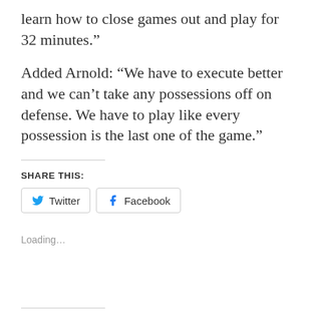learn how to close games out and play for 32 minutes.”
Added Arnold: “We have to execute better and we can’t take any possessions off on defense. We have to play like every possession is the last one of the game.”
SHARE THIS:
[Figure (other): Share buttons for Twitter and Facebook]
Loading...